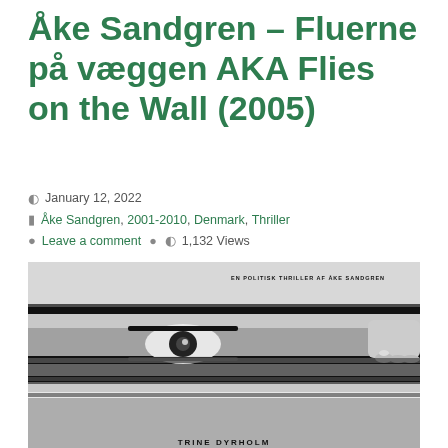Åke Sandgren – Fluerne på væggen AKA Flies on the Wall (2005)
January 12, 2022
Åke Sandgren, 2001-2010, Denmark, Thriller
Leave a comment   1,132 Views
[Figure (photo): Black and white movie poster for 'Fluerne på væggen' (Flies on the Wall, 2005) by Åke Sandgren. Shows a close-up of an eye peering through blinds/slats with a hand visible. Text reads 'EN POLITISK THRILLER AF ÅKE SANDGREN' at top and 'TRINE DYRHOLM' at the bottom.]